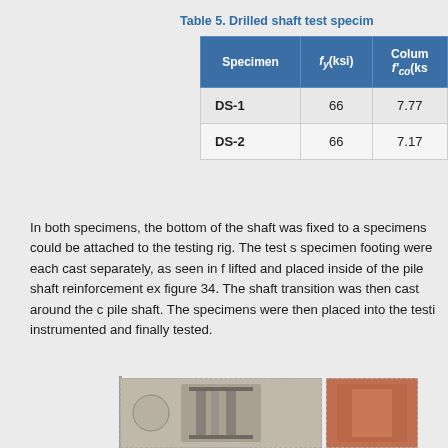Table 5. Drilled shaft test specimen...
| Specimen | fy(ksi) | Column f'co(ksi) |
| --- | --- | --- |
| DS-1 | 66 | 7.77 |
| DS-2 | 66 | 7.17 |
In both specimens, the bottom of the shaft was fixed to a specimens could be attached to the testing rig. The test s specimen footing were each cast separately, as seen in f lifted and placed inside of the pile shaft reinforcement ex figure 34. The shaft transition was then cast around the c pile shaft. The specimens were then placed into the testi instrumented and finally tested.
[Figure (photo): Two photographs showing drilled shaft test specimens: left photo shows a shaft specimen with reinforcement details in grey tones, right photo shows another specimen in warm brown/orange tones.]